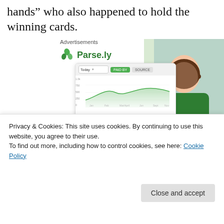hands” who also happened to hold the winning cards.
[Figure (screenshot): Parse.ly advertisement with logo, dashboard screenshot, and person in green sweater. Headline reads 'Content Analytics Made Easy'.]
Privacy & Cookies: This site uses cookies. By continuing to use this website, you agree to their use.
To find out more, including how to control cookies, see here: Cookie Policy
some 10 months. How many could it be in reality? I’d say